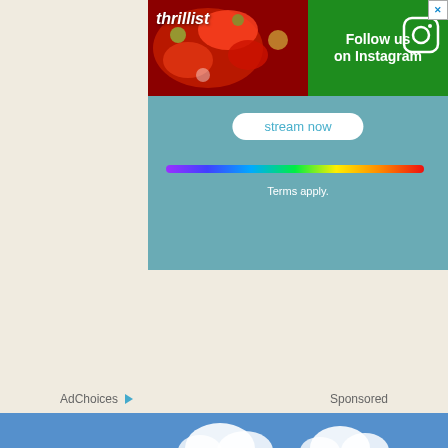[Figure (screenshot): Thrillist advertisement banner with green background showing 'Follow us on Instagram' text and Instagram icon, with food photo on left side and X close button]
[Figure (screenshot): Teal/blue-green streaming advertisement with 'stream now' button, rainbow color bar, and 'Terms apply.' text on teal background]
AdChoices   Sponsored
[Figure (photo): Blue sky with white clouds photo at bottom of page]